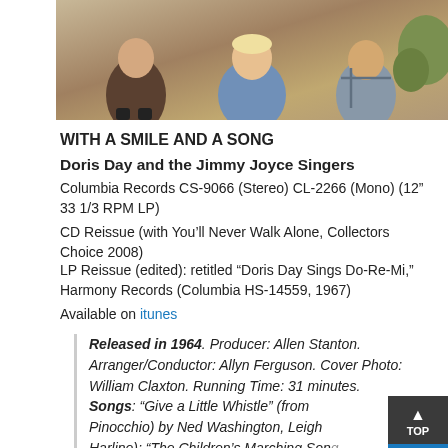[Figure (photo): Photo of Doris Day with children, seated outdoors]
WITH A SMILE AND A SONG
Doris Day and the Jimmy Joyce Singers
Columbia Records CS-9066 (Stereo) CL-2266 (Mono) (12" 33 1/3 RPM LP)
CD Reissue (with You’ll Never Walk Alone, Collectors Choice 2008)
LP Reissue (edited): retitled “Doris Day Sings Do-Re-Mi,” Harmony Records (Columbia HS-14559, 1967)
Available on itunes
Released in 1964. Producer: Allen Stanton. Arranger/Conductor: Allyn Ferguson. Cover Photo: William Claxton. Running Time: 31 minutes.
Songs: “Give a Little Whistle” (from Pinocchio) by Ned Washington, Leigh Harline); “The Children’s Marching Song (Nick Nack Paddy Whack)” (featured in The Inn of the Six...